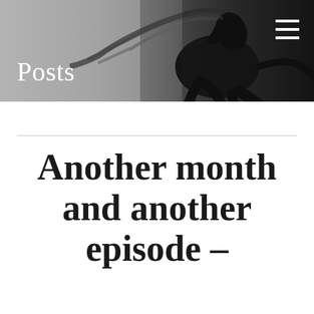[Figure (photo): Black and white photograph of a rearing horse silhouette with flowing mane, dramatic dark background. A hamburger menu icon (three horizontal white lines) is visible in the top right corner.]
Posts
Another month and another episode –